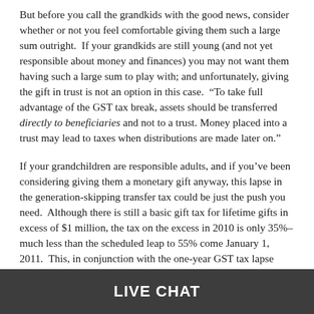But before you call the grandkids with the good news, consider whether or not you feel comfortable giving them such a large sum outright. If your grandkids are still young (and not yet responsible about money and finances) you may not want them having such a large sum to play with; and unfortunately, giving the gift in trust is not an option in this case. “To take full advantage of the GST tax break, assets should be transferred directly to beneficiaries and not to a trust. Money placed into a trust may lead to taxes when distributions are made later on.”
If your grandchildren are responsible adults, and if you’ve been considering giving them a monetary gift anyway, this lapse in the generation-skipping transfer tax could be just the push you need. Although there is still a basic gift tax for lifetime gifts in excess of $1 million, the tax on the excess in 2010 is only 35%–much less than the scheduled leap to 55% come January 1, 2011. This, in conjunction with the one-year GST tax lapse (which would otherwise add a second layer of tax to any gift to grandkids) makes 2010 a great year to give gifts to your grandchildren. Talk to your attorney or financial advisor about
LIVE CHAT